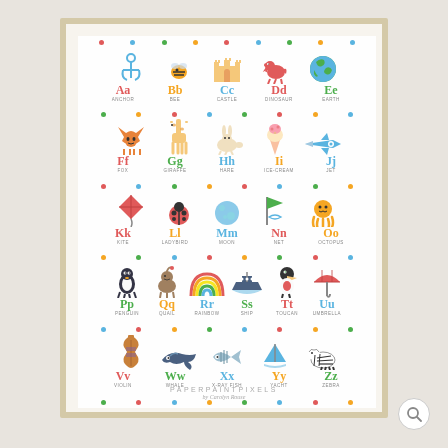[Figure (illustration): A colorful children's alphabet poster in a wooden frame. Shows all 26 letters A-Z with illustrations for each: Aa=anchor, Bb=bee, Cc=castle, Dd=dinosaur, Ee=earth, Ff=fox, Gg=giraffe, Hh=hare, Ii=ice-cream, Jj=jet, Kk=kite, Ll=ladybird, Mm=moon, Nn=net, Oo=octopus, Pp=penguin, Qq=quail, Rr=rainbow, Ss=ship, Tt=toucan, Uu=umbrella, Vv=violin, Ww=whale, Xx=x-ray fish, Yy=yacht, Zz=zebra. Colorful polka dots decorate the background. Letters are in bold serif font in various colors.]
PAPERPAINTPIXELS
by Carolyn Rouse